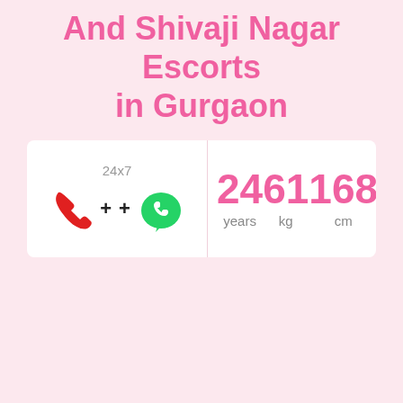And Shivaji Nagar Escorts in Gurgaon
[Figure (infographic): Contact icons: red phone handset and green WhatsApp logo with '24x7' label above and '+ +' between them, beside stats showing 24 years, 61 kg, 168 cm]